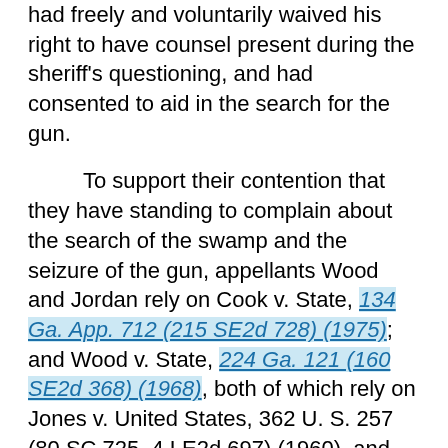had freely and voluntarily waived his right to have counsel present during the sheriff's questioning, and had consented to aid in the search for the gun.
To support their contention that they have standing to complain about the search of the swamp and the seizure of the gun, appellants Wood and Jordan rely on Cook v. State, 134 Ga. App. 712 (215 SE2d 728) (1975); and Wood v. State, 224 Ga. 121 (160 SE2d 368) (1968), both of which rely on Jones v. United States, 362 U. S. 257 (80 SC 725, 4 LE2d 697) (1960), and the rule of "automatic standing," applicable to defendants charged with crimes of possession. No such